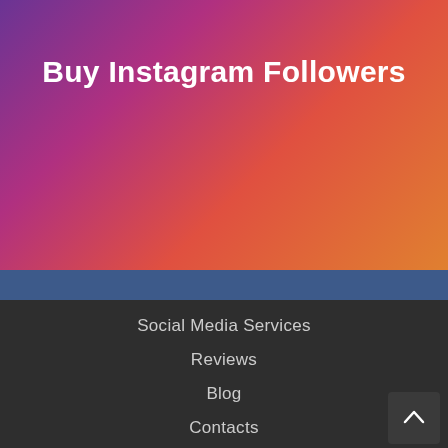[Figure (illustration): Instagram-style gradient background (purple to orange/red) with hero section]
Buy Instagram Followers
Social Media Services
Reviews
Blog
Contacts